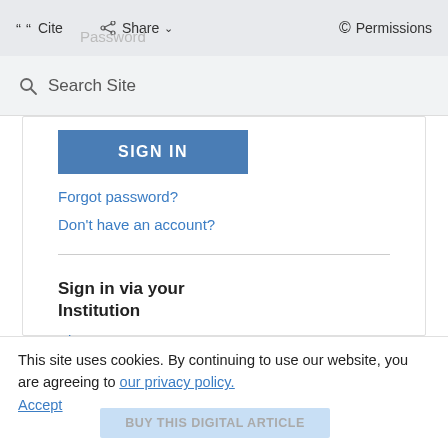Cite  Share  Permissions
Password
Search Site
SIGN IN
Forgot password?
Don't have an account?
Sign in via your Institution
Sign In
This site uses cookies. By continuing to use our website, you are agreeing to our privacy policy. Accept
BUY THIS DIGITAL ARTICLE